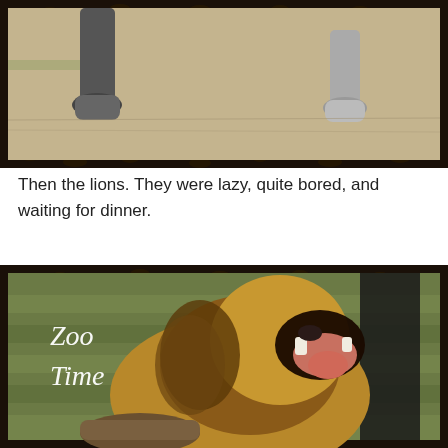[Figure (photo): Top portion of a zoo photo framed with leopard print border showing animal feet/paws on sandy ground]
Then the lions. They were lazy, quite bored, and waiting for dinner.
[Figure (photo): Photo of a lion yawning with mouth wide open, framed with leopard print border. Text overlay reads 'Zoo Time' in decorative font. Background shows green wooden slats.]